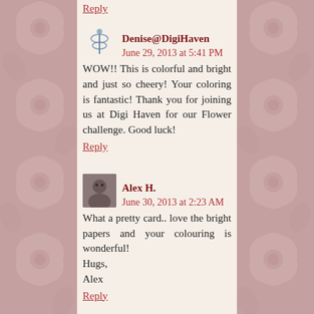Reply
Denise@DigiHaven June 29, 2013 at 5:41 PM
WOW!! This is colorful and bright and just so cheery! Your coloring is fantastic! Thank you for joining us at Digi Haven for our Flower challenge. Good luck!
Reply
Alex H. June 30, 2013 at 2:23 AM
What a pretty card.. love the bright papers and your colouring is wonderful!
Hugs,
Alex
Reply
Anonymous June 30, 2013 at 1:07 PM
Beautiful card and love the image, great colors. Thank you